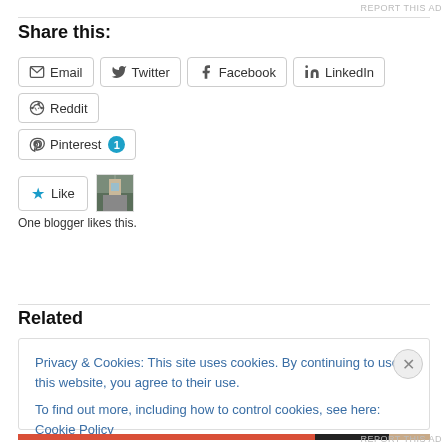REPORT THIS AD
Share this:
Email  Twitter  Facebook  LinkedIn  Reddit  Pinterest 1
Like  [avatar]
One blogger likes this.
Related
Privacy & Cookies: This site uses cookies. By continuing to use this website, you agree to their use.
To find out more, including how to control cookies, see here: Cookie Policy
Close and accept